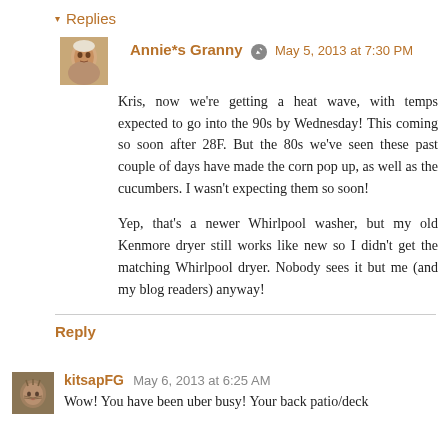▾ Replies
Annie*s Granny  May 5, 2013 at 7:30 PM
Kris, now we're getting a heat wave, with temps expected to go into the 90s by Wednesday! This coming so soon after 28F. But the 80s we've seen these past couple of days have made the corn pop up, as well as the cucumbers. I wasn't expecting them so soon!

Yep, that's a newer Whirlpool washer, but my old Kenmore dryer still works like new so I didn't get the matching Whirlpool dryer. Nobody sees it but me (and my blog readers) anyway!
Reply
kitsapFG  May 6, 2013 at 6:25 AM
Wow! You have been uber busy! Your back patio/deck